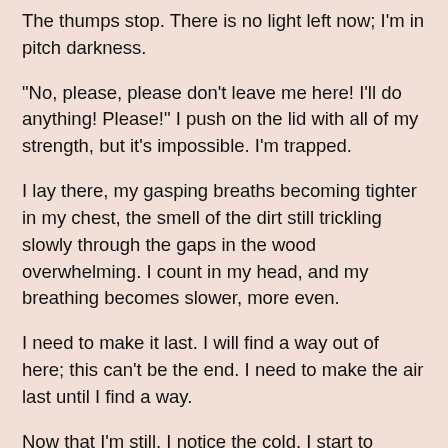The thumps stop. There is no light left now; I'm in pitch darkness.
“No, please, please don’t leave me here! I’ll do anything! Please!” I push on the lid with all of my strength, but it’s impossible. I’m trapped.
I lay there, my gasping breaths becoming tighter in my chest, the smell of the dirt still trickling slowly through the gaps in the wood overwhelming. I count in my head, and my breathing becomes slower, more even.
I need to make it last. I will find a way out of here; this can’t be the end. I need to make the air last until I find a way.
Now that I’m still, I notice the cold. I start to shiver.
How can I get out? Try the lid again? It didn’t work before, but maybe if I kick it at the same time? Or use my feet to kick out